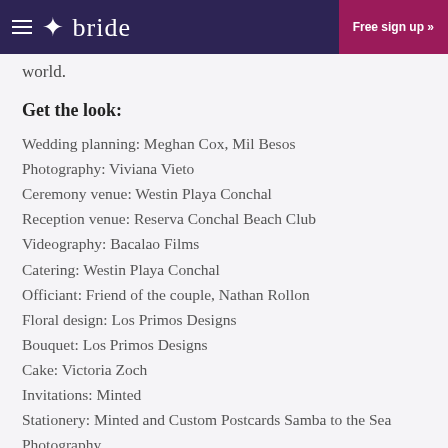bride | Free sign up »
world.
Get the look:
Wedding planning: Meghan Cox, Mil Besos
Photography: Viviana Vieto
Ceremony venue: Westin Playa Conchal
Reception venue: Reserva Conchal Beach Club
Videography: Bacalao Films
Catering: Westin Playa Conchal
Officiant:  Friend of the couple, Nathan Rollon
Floral design: Los Primos Designs
Bouquet: Los Primos Designs
Cake: Victoria Zoch
Invitations: Minted
Stationery:  Minted and Custom Postcards Samba to the Sea Photography
Calligraphy: Halley Rose Calligraphy